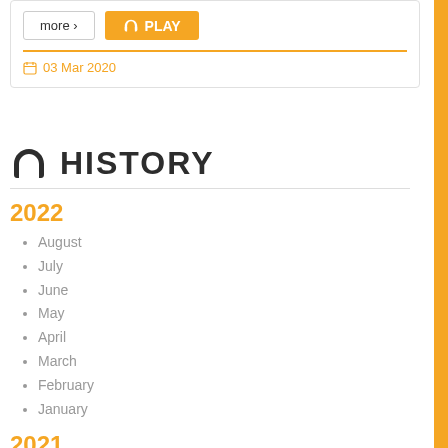[Figure (screenshot): UI card with 'more' button and orange 'PLAY' button, followed by an orange horizontal rule and a calendar date '03 Mar 2020']
HISTORY
2022
August
July
June
May
April
March
February
January
2021